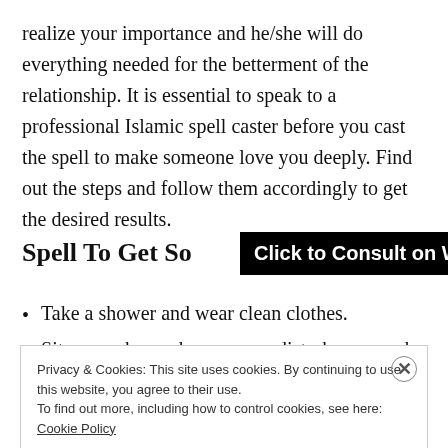realize your importance and he/she will do everything needed for the betterment of the relationship. It is essential to speak to a professional Islamic spell caster before you cast the spell to make someone love you deeply. Find out the steps and follow them accordingly to get the desired results.
Spell To Get So
[Figure (other): Black button overlay reading 'Click to Consult on Whatsapp']
Take a shower and wear clean clothes.
Sit somewhere where no one disturbs you and
Privacy & Cookies: This site uses cookies. By continuing to use this website, you agree to their use.
To find out more, including how to control cookies, see here: Cookie Policy